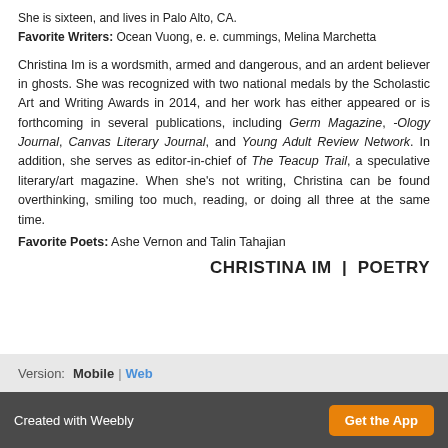She is sixteen, and lives in Palo Alto, CA.
Favorite Writers: Ocean Vuong, e. e. cummings, Melina Marchetta
Christina Im is a wordsmith, armed and dangerous, and an ardent believer in ghosts. She was recognized with two national medals by the Scholastic Art and Writing Awards in 2014, and her work has either appeared or is forthcoming in several publications, including Germ Magazine, -Ology Journal, Canvas Literary Journal, and Young Adult Review Network. In addition, she serves as editor-in-chief of The Teacup Trail, a speculative literary/art magazine. When she's not writing, Christina can be found overthinking, smiling too much, reading, or doing all three at the same time.
Favorite Poets: Ashe Vernon and Talin Tahajian
CHRISTINA IM | POETRY
Version: Mobile | Web
Created with Weebly   Get the App